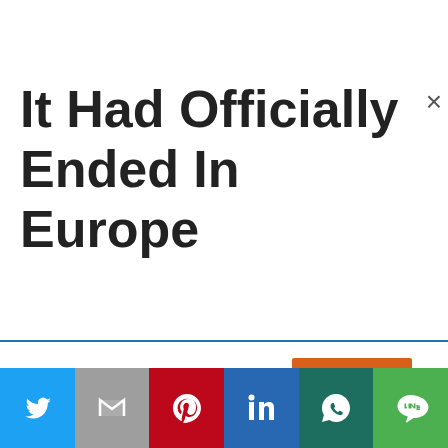It Had Officially Ended In Europe
This website uses cookies.
Accept
[Figure (other): Social sharing bar with Twitter, Gmail, Pinterest, LinkedIn, WhatsApp, and LINE buttons]